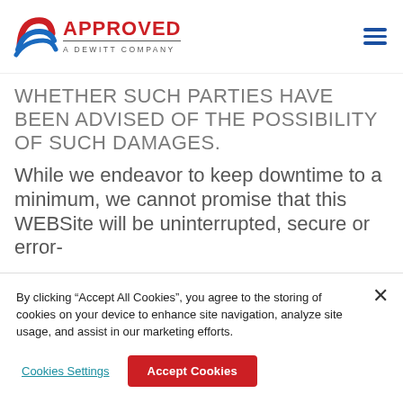APPROVED A DeWitt Company
WHETHER SUCH PARTIES HAVE BEEN ADVISED OF THE POSSIBILITY OF SUCH DAMAGES.
While we endeavor to keep downtime to a minimum, we cannot promise that this WEBSite will be uninterrupted, secure or error-
By clicking “Accept All Cookies”, you agree to the storing of cookies on your device to enhance site navigation, analyze site usage, and assist in our marketing efforts.
Cookies Settings
Accept Cookies